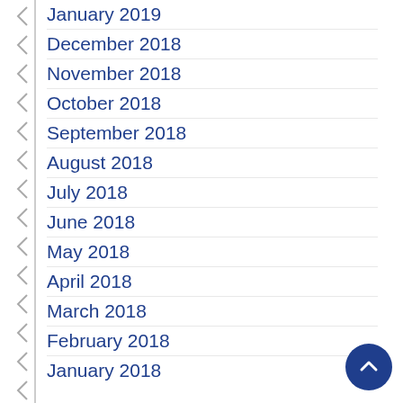January 2019
December 2018
November 2018
October 2018
September 2018
August 2018
July 2018
June 2018
May 2018
April 2018
March 2018
February 2018
January 2018